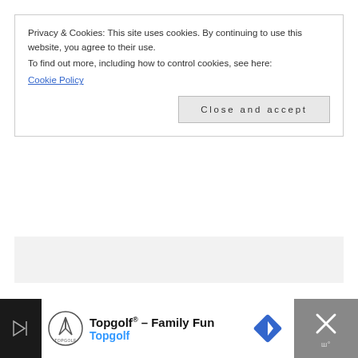Privacy & Cookies: This site uses cookies. By continuing to use this website, you agree to their use.
To find out more, including how to control cookies, see here:
Cookie Policy
Close and accept
curious, keep reading!
[Figure (screenshot): Advertisement banner for Topgolf: dark background on sides, white center with Topgolf logo, text 'Topgolf® – Family Fun' and 'Topgolf' in blue, navigation arrow icon, and close X button on right.]